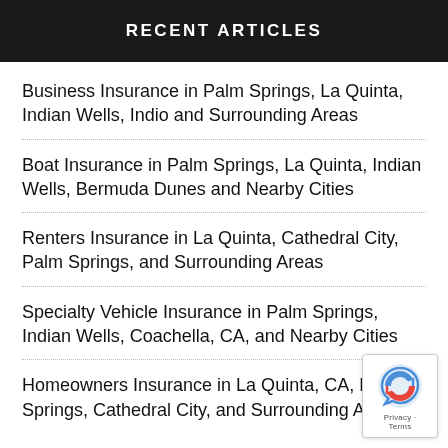RECENT ARTICLES
Business Insurance in Palm Springs, La Quinta, Indian Wells, Indio and Surrounding Areas
Boat Insurance in Palm Springs, La Quinta, Indian Wells, Bermuda Dunes and Nearby Cities
Renters Insurance in La Quinta, Cathedral City, Palm Springs, and Surrounding Areas
Specialty Vehicle Insurance in Palm Springs, Indian Wells, Coachella, CA, and Nearby Cities
Homeowners Insurance in La Quinta, CA, Palm Springs, Cathedral City, and Surrounding Areas